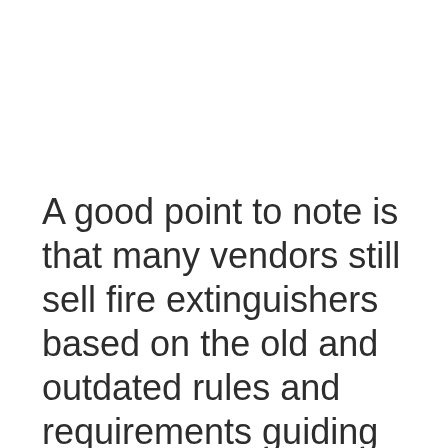A good point to note is that many vendors still sell fire extinguishers based on the old and outdated rules and requirements guiding the use of fire extinguishers on the boat. The latest regulation is the UL method of 2016 which replaced